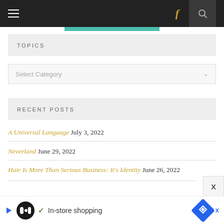Navigation bar with hamburger menu, Facebook icon, and search icon
TOPICS
Select Category
RECENT POSTS
A Universal Language July 3, 2022
Neverland June 29, 2022
Hair Is More Than Serious Business: It's Identity June 26, 2022
When Suffering and Appreciation Walk the...
In-store shopping (Advertisement)